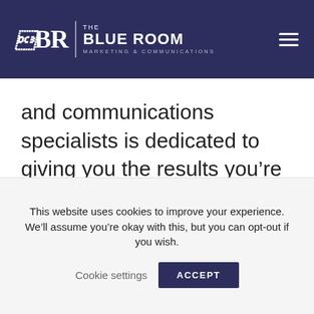THE BLUE ROOM MARKETING & COMMUNICATIONS
and communications specialists is dedicated to giving you the results you’re after, giving you peace of mind and return on investment.
This website uses cookies to improve your experience. We’ll assume you’re okay with this, but you can opt-out if you wish.
Cookie settings  ACCEPT